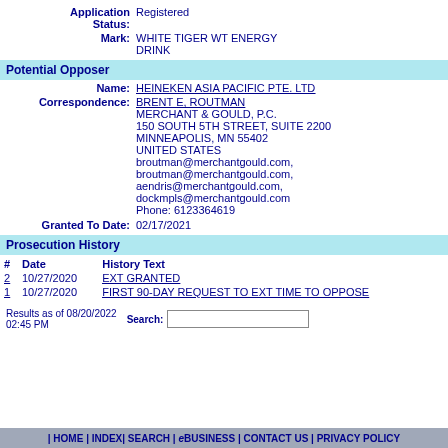Application Status: Registered
Mark: WHITE TIGER WT ENERGY DRINK
Potential Opposer
Name: HEINEKEN ASIA PACIFIC PTE. LTD
Correspondence: BRENT E, ROUTMAN
MERCHANT & GOULD, P.C.
150 SOUTH 5TH STREET, SUITE 2200
MINNEAPOLIS, MN 55402
UNITED STATES
broutman@merchantgould.com,
broutman@merchantgould.com,
aendris@merchantgould.com,
dockmpls@merchantgould.com
Phone: 6123364619
Granted To Date: 02/17/2021
Prosecution History
| # | Date | History Text |
| --- | --- | --- |
| 2 | 10/27/2020 | EXT GRANTED |
| 1 | 10/27/2020 | FIRST 90-DAY REQUEST TO EXT TIME TO OPPOSE |
Results as of 08/20/2022 02:45 PM
| HOME | INDEX| SEARCH | eBUSINESS | CONTACT US | PRIVACY POLICY